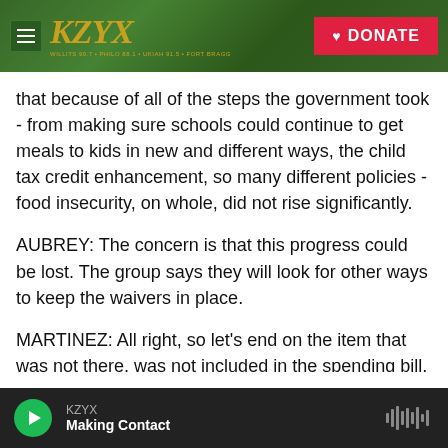KZYX — Navigation header with DONATE button
that because of all of the steps the government took - from making sure schools could continue to get meals to kids in new and different ways, the child tax credit enhancement, so many different policies - food insecurity, on whole, did not rise significantly.
AUBREY: The concern is that this progress could be lost. The group says they will look for other ways to keep the waivers in place.
MARTINEZ: All right, so let's end on the item that was not there, was not included in the spending bill,
KZYX — Making Contact